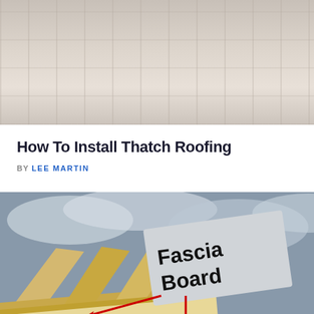[Figure (photo): Faded/washed-out photograph of a building under construction, showing scaffolding and construction equipment in the background.]
How To Install Thatch Roofing
BY LEE MARTIN
[Figure (photo): Close-up photograph of a roof under construction showing wooden fascia boards with a labeled annotation reading 'Fascia Board' and red arrows pointing to the fascia board location.]